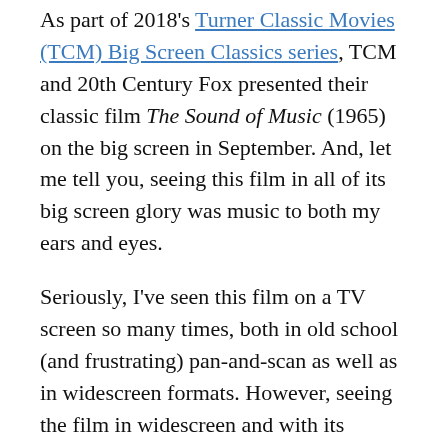As part of 2018's Turner Classic Movies (TCM) Big Screen Classics series, TCM and 20th Century Fox presented their classic film The Sound of Music (1965) on the big screen in September. And, let me tell you, seeing this film in all of its big screen glory was music to both my ears and eyes.
Seriously, I've seen this film on a TV screen so many times, both in old school (and frustrating) pan-and-scan as well as in widescreen formats. However, seeing the film in widescreen and with its beautiful digital restoration was almost like seeing the film for the first time (I'm sure that this will be an oft-used statement on this blog–I really prefer watching any film on the big screen